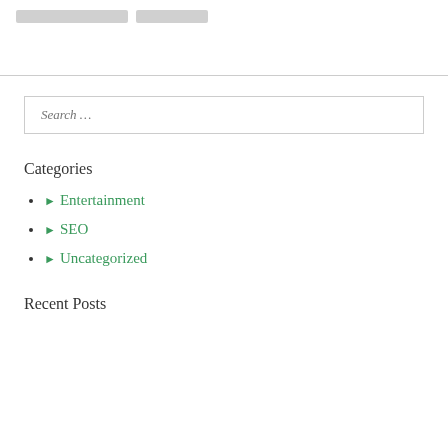[Figure (other): Two gray placeholder button/tag elements at the top of the page]
Search …
Categories
Entertainment
SEO
Uncategorized
Recent Posts